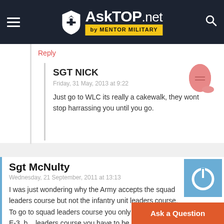AskTOP.net by MENTOR MILITARY
Reply
SGT NICK
Friday, 31 May, 2013 at 9:22
Just go to WLC its really a cakewalk, they wont stop harrassing you until you go.
Sgt McNulty
Wednesday, 21 September, 2011 at 13:13
I was just wondering why the Army accepts the squad leaders course but not the infantry unit leaders course. To go to squad leaders course you only have to be an E-3, b... leaders course you have to be at least E-5 p...